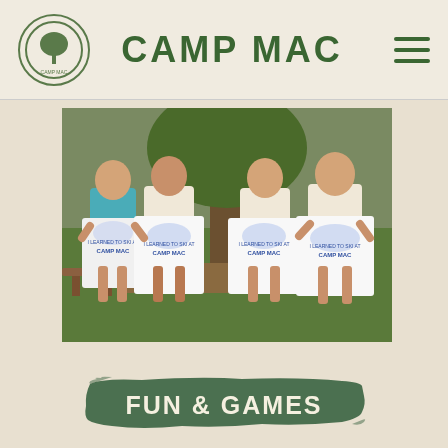CAMP MAC
[Figure (photo): Four girls standing outdoors holding white t-shirts that read 'I Learned to Ski at Camp Mac'. They are standing in front of a tree on a grassy area.]
FUN & GAMES